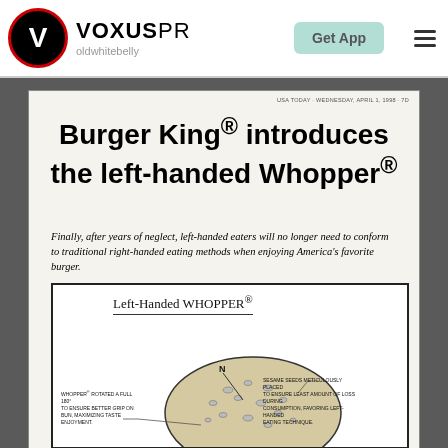[Figure (logo): VoxusPR logo with red/black circular V emblem and bold VOXUSPR text]
oldwhitebelly
Get App
USA TODAY - WEDNESDAY, APRIL 1, 1998 - 7D
Burger King® introduces the left-handed Whopper®
Finally, after years of neglect, left-handed eaters will no longer need to conform to traditional right-handed eating methods when enjoying America's favorite burger.
[Figure (illustration): Diagram of Left-Handed WHOPPER with annotations: 'WHOPPER ROTATED A FULL 180° TO ENSURE BETTER GRIP ON BUN, MAXIMIZING TASTE ENJOYMENT.' and 'SESAME SEEDS METICULOUSLY PLACED TO ENSURE LEAST AMOUNT OF LOSS DURING CONSUMPTION, FAVORING LEFT-HANDED EATING TECHNIQUE.' A compass N arrow and partial burger illustration are shown.]